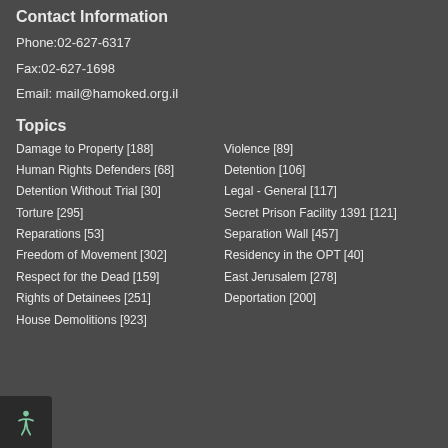Contact Information
Phone:02-627-6317
Fax:02-627-1698
Email: mail@hamoked.org.il
Topics
Damage to Property [188]
Violence [89]
Human Rights Defenders [68]
Detention [106]
Detention Without Trial [30]
Legal - General [117]
Torture [295]
Secret Prison Facility 1391 [121]
Reparations [53]
Separation Wall [457]
Freedom of Movement [302]
Residency in the OPT [40]
Respect for the Dead [159]
East Jerusalem [278]
Rights of Detainees [251]
Deportation [200]
House Demolitions [923]